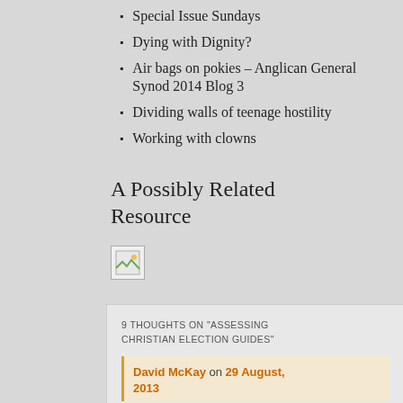Special Issue Sundays
Dying with Dignity?
Air bags on pokies – Anglican General Synod 2014 Blog 3
Dividing walls of teenage hostility
Working with clowns
A Possibly Related Resource
[Figure (illustration): Small broken/placeholder image icon]
9 THOUGHTS ON "ASSESSING CHRISTIAN ELECTION GUIDES"
David McKay on 29 August, 2013